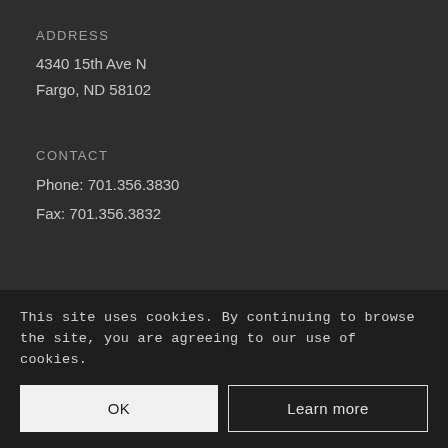ADDRESS
4340 15th Ave N
Fargo, ND 58102
CONTACT
Phone: 701.356.3830
Fax: 701.356.3832
Iowa & Nebraska
CONTACT
Phone: 763.571.4979
This site uses cookies. By continuing to browse the site, you are agreeing to our use of cookies.
OK
Learn more